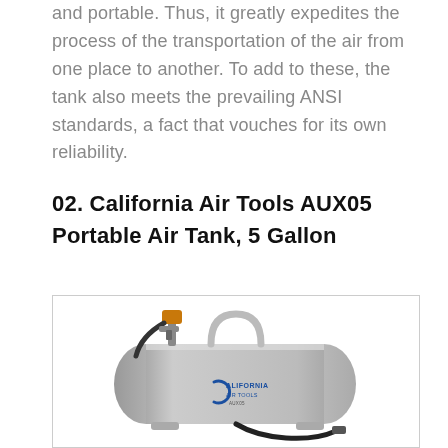and portable. Thus, it greatly expedites the process of the transportation of the air from one place to another. To add to these, the tank also meets the prevailing ANSI standards, a fact that vouches for its own reliability.
02. California Air Tools AUX05 Portable Air Tank, 5 Gallon
[Figure (photo): California Air Tools AUX05 portable air tank, 5 gallon, silver cylindrical tank with handle on top, gauge fittings, and hose at bottom, California Air Tools logo on tank body.]